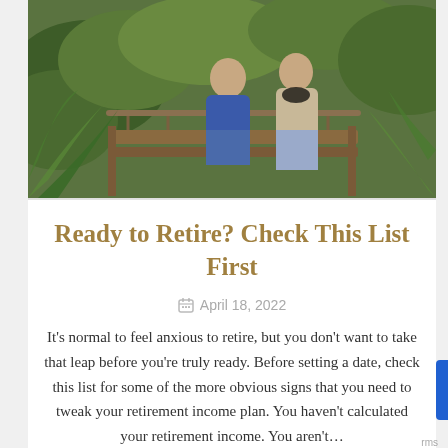[Figure (photo): Couple sitting on a wooden bridge or deck outdoors in a forest/garden setting with green ferns and foliage in background]
Ready to Retire? Check This List First
April 18, 2022
It's normal to feel anxious to retire, but you don't want to take that leap before you're truly ready. Before setting a date, check this list for some of the more obvious signs that you need to tweak your retirement income plan. You haven't calculated your retirement income. You aren't...